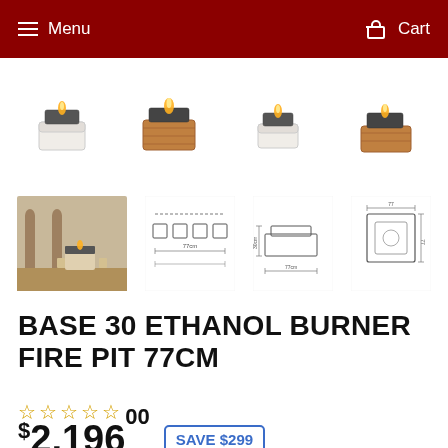Menu | Cart
[Figure (photo): Four product thumbnail images of Base 30 Ethanol Burner Fire Pit in white and wood finishes, shown from slight angle]
[Figure (photo): Four thumbnail images: outdoor lifestyle photo, dimension schematic top view, side dimension drawing, top-down dimension drawing]
BASE 30 ETHANOL BURNER FIRE PIT 77CM
☆☆☆☆☆ (star rating, 0 of 5)
$2,196.00  SAVE $299